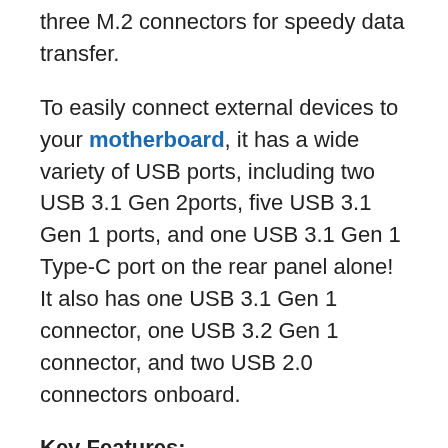three M.2 connectors for speedy data transfer.
To easily connect external devices to your motherboard, it has a wide variety of USB ports, including two USB 3.1 Gen 2ports, five USB 3.1 Gen 1 ports, and one USB 3.1 Gen 1 Type-C port on the rear panel alone! It also has one USB 3.1 Gen 1 connector, one USB 3.2 Gen 1 connector, and two USB 2.0 connectors onboard.
Key Features:
Features five-way optimization to automatically adjust the CPU's clocking and the cooling system
Houses Digi+ Power Control to